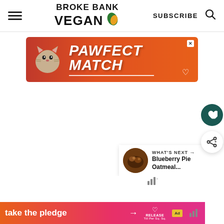BROKE BANK VEGAN | SUBSCRIBE
[Figure (screenshot): Advertisement banner for 'PAWFECT MATCH' featuring a cat image on an orange-red gradient background with white bold italic text and heart icon]
[Figure (screenshot): White content area with dark teal heart button and white share button on the right side]
[Figure (screenshot): 'WHAT'S NEXT' card showing Blueberry Pie Oatmeal with a circular thumbnail]
[Figure (screenshot): Bottom advertisement banner reading 'take the pledge' with arrow, RELEASE heart logo, and ad badge on gradient orange-pink background]